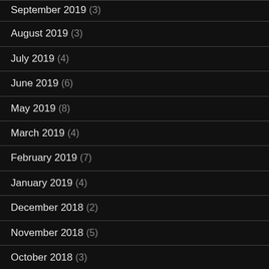September 2019 (3)
August 2019 (3)
July 2019 (4)
June 2019 (6)
May 2019 (8)
March 2019 (4)
February 2019 (7)
January 2019 (4)
December 2018 (2)
November 2018 (5)
October 2018 (3)
September 2018 (2)
August 2018 (3)